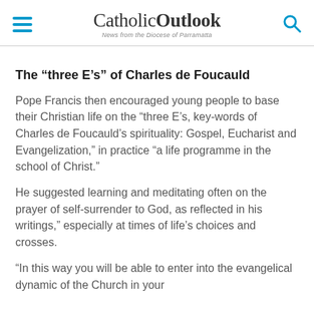CatholicOutlook — News from the Diocese of Parramatta
The “three E’s” of Charles de Foucauld
Pope Francis then encouraged young people to base their Christian life on the “three E’s, key-words of Charles de Foucauld’s spirituality: Gospel, Eucharist and Evangelization,” in practice “a life programme in the school of Christ.”
He suggested learning and meditating often on the prayer of self-surrender to God, as reflected in his writings,” especially at times of life’s choices and crosses.
“In this way you will be able to enter into the evangelical dynamic of the Church in your